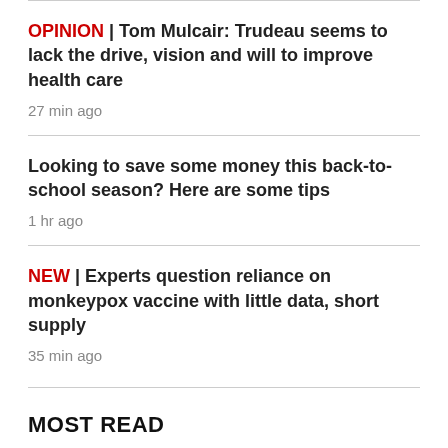OPINION | Tom Mulcair: Trudeau seems to lack the drive, vision and will to improve health care
27 min ago
Looking to save some money this back-to-school season? Here are some tips
1 hr ago
NEW | Experts question reliance on monkeypox vaccine with little data, short supply
35 min ago
MOST READ